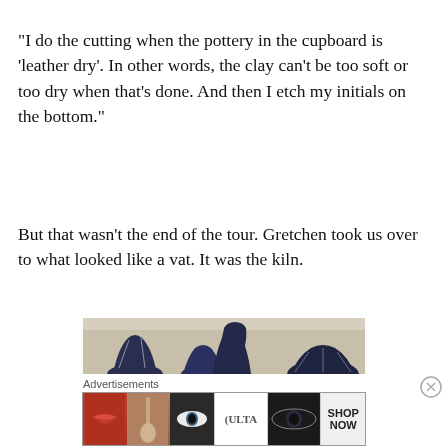“I do the cutting when the pottery in the cupboard is ‘leather dry’.  In other words, the clay can't be too soft or too dry when that’s done.  And then I etch my initials on the bottom.”
But that wasn't the end of the tour.  Gretchen took us over to what looked like a vat.  It was the kiln.
[Figure (photo): Three dark navy blue ceramic pottery vases of varying shapes and sizes displayed on a shelf with a tan/beige background]
Advertisements
[Figure (infographic): ULTA beauty advertisement banner showing makeup images: lips with lipstick, makeup brush, eye with mascara, ULTA logo, eyes, and SHOP NOW text]